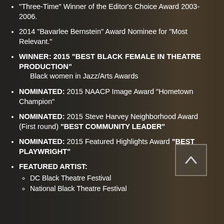"Three-Time" Winner of the Editor's Choice Award 2003-2006.
2014 "Bavarlee Bernstein" Award Nominee for "Most Relevant."
WINNER: 2015 "BEST BLACK FEMALE IN THEATRE PRODUCTION"
    Black women in Jazz/Arts Awards
NOMINATED: 2015 NAACP Image Award "Hometown Champion"
NOMINATED: 2015 Steve Harvey Neighborhood Award (First round) "BEST COMMUNITY LEADER"
NOMINATED: 2015 Featured Highlights Award "BEST PLAYWRIGHT"
FEATURED ARTIST:
  DC Black Theatre Festival
  National Black Theatre Festival